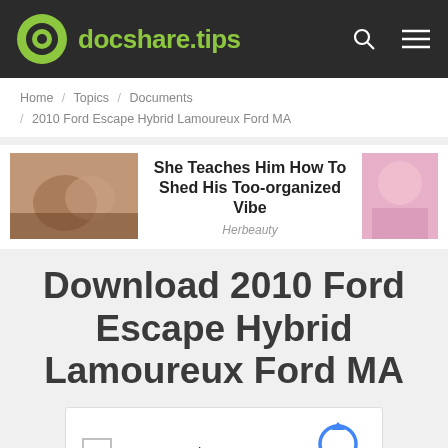docshare.tips
Home / Topics / Documents / 2010 Ford Escape Hybrid Lamoureux Ford MA
[Figure (screenshot): Advertisement banner: She Teaches Him How To Shed His Too-organized Vibe - Herbeauty, with two images on left and right]
Download 2010 Ford Escape Hybrid Lamoureux Ford MA
[Figure (screenshot): Google reCAPTCHA widget with checkbox labeled I'm not a robot and reCAPTCHA Privacy - Terms branding]